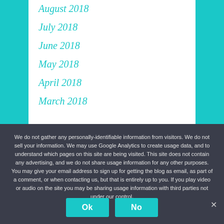August 2018
July 2018
June 2018
May 2018
April 2018
March 2018
We do not gather any personally-identifiable information from visitors. We do not sell your information. We may use Google Analytics to create usage data, and to understand which pages on this site are being visited. This site does not contain any advertising, and we do not share usage information for any other purposes. You may give your email address to sign up for getting the blog as email, as part of a comment, or when contacting us, but that is entirely up to you. If you play video or audio on the site you may be sharing usage information with third parties not under our control.